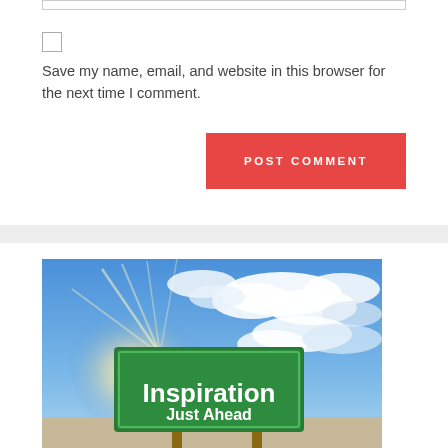Save my name, email, and website in this browser for the next time I comment.
POST COMMENT
[Figure (photo): Green road sign reading 'Inspiration Just Ahead' against a bright blue sky with white clouds and sun rays]